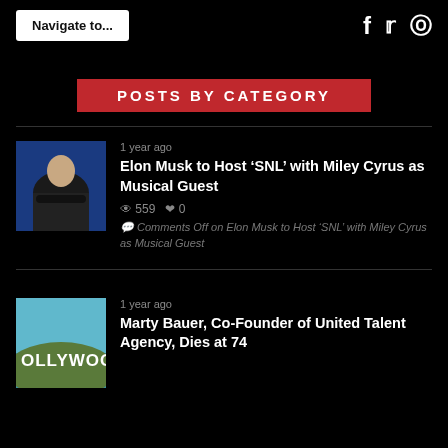Navigate to...  f  tw  p
POSTS BY CATEGORY
1 year ago
Elon Musk to Host ‘SNL’ with Miley Cyrus as Musical Guest
559  0
Comments Off on Elon Musk to Host ‘SNL’ with Miley Cyrus as Musical Guest
1 year ago
Marty Bauer, Co-Founder of United Talent Agency, Dies at 74